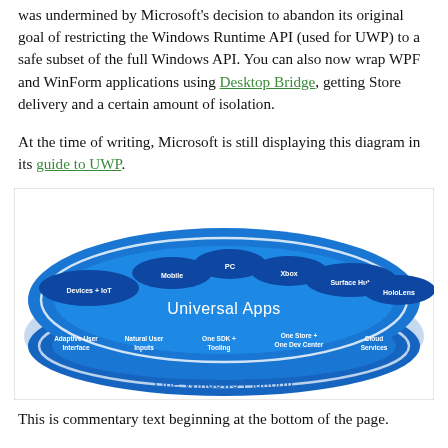was undermined by Microsoft's decision to abandon its original goal of restricting the Windows Runtime API (used for UWP) to a safe subset of the full Windows API. You can also now wrap WPF and WinForm applications using Desktop Bridge, getting Store delivery and a certain amount of isolation.
At the time of writing, Microsoft is still displaying this diagram in its guide to UWP.
[Figure (infographic): Microsoft Universal Windows Platform diagram showing 'Universal Apps' sitting on 'One Windows Platform'. The upper portion shows device categories in blue bubbles: Devices + IoT, Mobile, PC, Xbox, Surface Hub, HoloLens. The lower section shows platform features: Adaptive User Interface, Natural User Inputs, One SDK + Tooling, One Store + One Dev Center, Cloud Services. The whole image is styled with blue elliptical rings suggesting a platform ecosystem.]
This is commentary text beginning at the bottom of the page.